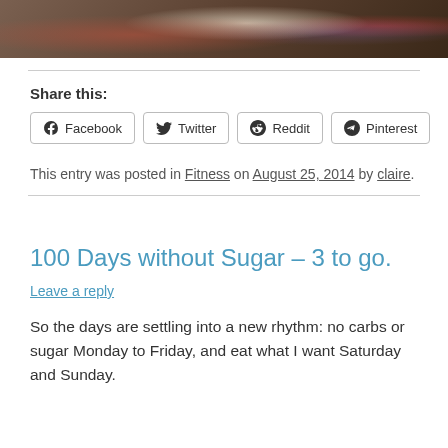[Figure (photo): Top portion of a food photo showing what appears to be a dessert with cream and colorful toppings, dark background]
Share this:
Facebook  Twitter  Reddit  Pinterest
This entry was posted in Fitness on August 25, 2014 by claire.
100 Days without Sugar – 3 to go.
Leave a reply
So the days are settling into a new rhythm: no carbs or sugar Monday to Friday, and eat what I want Saturday and Sunday.